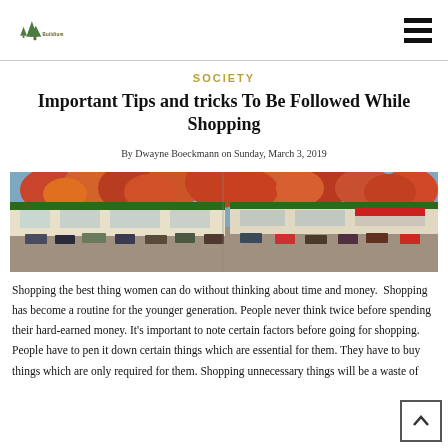Buildium logo and navigation
SOCIETY
Important Tips and tricks To Be Followed While Shopping
By Dwayne Boeckmann on Sunday, March 3, 2019
[Figure (photo): Panoramic photo of a strip mall shopping center with green roof, parking lot full of cars, and autumn trees with red/orange foliage in the background.]
Shopping the best thing women can do without thinking about time and money.  Shopping has become a routine for the younger generation. People never think twice before spending their hard-earned money. It's important to note certain factors before going for shopping. People have to pen it down certain things which are essential for them. They have to buy things which are only required for them. Shopping unnecessary things will be a waste of